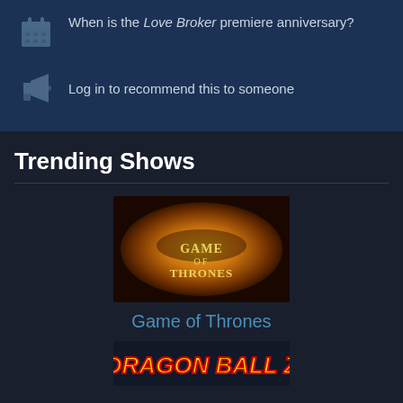When is the Love Broker premiere anniversary?
Log in to recommend this to someone
Trending Shows
[Figure (photo): Game of Thrones logo/title card — golden dragon coiled around the show title on a fiery background]
Game of Thrones
[Figure (photo): Dragon Ball Z logo — yellow and red stylized text on a dark background, partially visible]